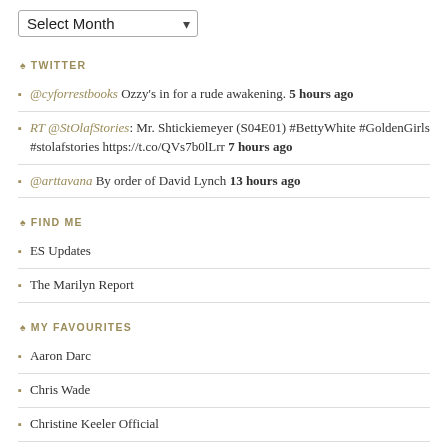[Figure (screenshot): Select Month dropdown widget]
TWITTER
@cyforrestbooks Ozzy's in for a rude awakening. 5 hours ago
RT @StOlafStories: Mr. Shtickiemeyer (S04E01) #BettyWhite #GoldenGirls #stolafstories https://t.co/QVs7b0lLrr 7 hours ago
@arttavana By order of David Lynch 13 hours ago
FIND ME
ES Updates
The Marilyn Report
MY FAVOURITES
Aaron Darc
Chris Wade
Christine Keeler Official
Culled Culture